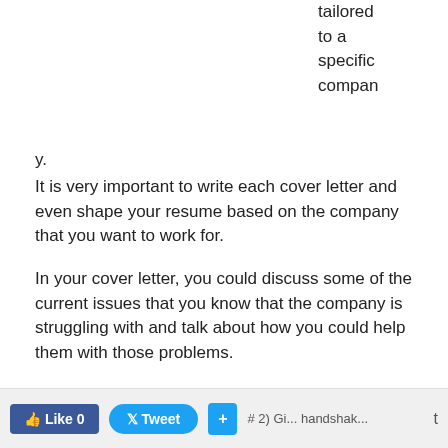tailored to a specific company.
It is very important to write each cover letter and even shape your resume based on the company that you want to work for.
In your cover letter, you could discuss some of the current issues that you know that the company is struggling with and talk about how you could help them with those problems.
You could also talk about why you would fit in nicely with the company culture.
In order to create a tailored application, you need to do some serious research on the company, so get started!
Like 0   Tweet   +   # 2) Gi... handshak...   t